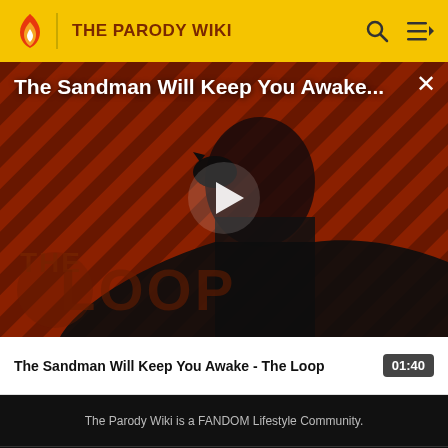THE PARODY WIKI
[Figure (screenshot): Video thumbnail showing a dark figure in black robes against a red and black diagonal striped background, with 'THE LOOP' logo text visible, and a white play button in the center. Title overlay reads 'The Sandman Will Keep You Awake...']
The Sandman Will Keep You Awake - The Loop
01:40
The Parody Wiki is a FANDOM Lifestyle Community.
VIEW FULL SITE